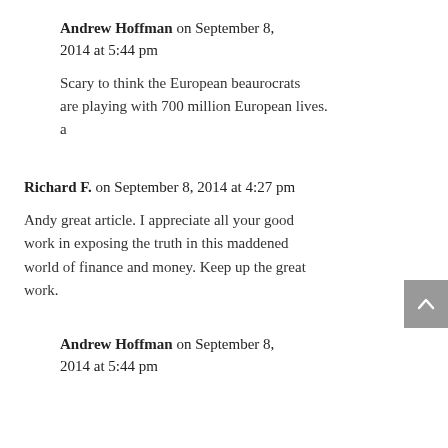Andrew Hoffman on September 8, 2014 at 5:44 pm
Scary to think the European beaurocrats are playing with 700 million European lives. a
Richard F. on September 8, 2014 at 4:27 pm
Andy great article. I appreciate all your good work in exposing the truth in this maddened world of finance and money. Keep up the great work.
Andrew Hoffman on September 8, 2014 at 5:44 pm